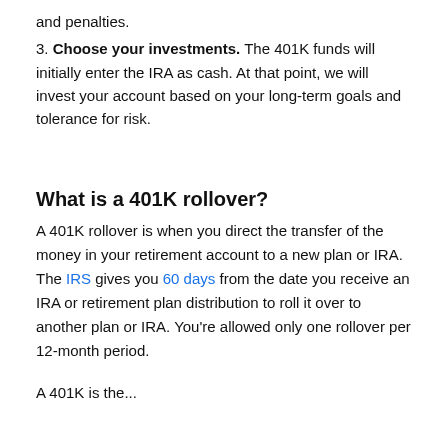and penalties.
3. Choose your investments. The 401K funds will initially enter the IRA as cash. At that point, we will invest your account based on your long-term goals and tolerance for risk.
What is a 401K rollover?
A 401K rollover is when you direct the transfer of the money in your retirement account to a new plan or IRA. The IRS gives you 60 days from the date you receive an IRA or retirement plan distribution to roll it over to another plan or IRA. You're allowed only one rollover per 12-month period.
A 401K is the...